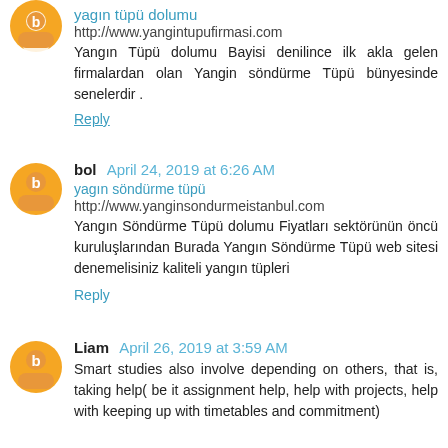yagın tüpü dolumu
http://www.yangintupufirmasi.com
Yangın Tüpü dolumu Bayisi denilince ilk akla gelen firmalardan olan Yangin söndürme Tüpü bünyesinde senelerdir .
Reply
bol  April 24, 2019 at 6:26 AM
yagın söndürme tüpü
http://www.yanginsondurmeistanbul.com
Yangın Söndürme Tüpü dolumu Fiyatları sektörünün öncü kuruluşlarından Burada Yangın Söndürme Tüpü web sitesi denemelisiniz kaliteli yangın tüpleri
Reply
Liam  April 26, 2019 at 3:59 AM
Smart studies also involve depending on others, that is, taking help( be it assignment help, help with projects, help with keeping up with timetables and commitment)